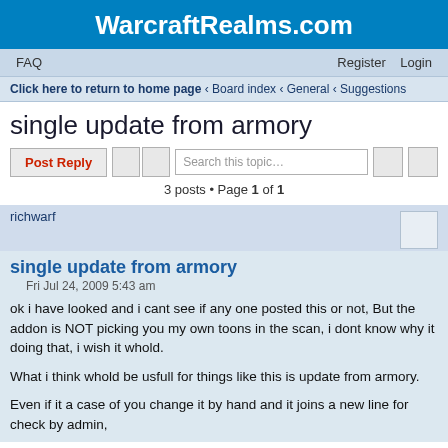WarcraftRealms.com
FAQ   Register   Login
Click here to return to home page < Board index < General < Suggestions
single update from armory
Post Reply   Search this topic...   3 posts • Page 1 of 1
richwarf
single update from armory
Fri Jul 24, 2009 5:43 am
ok i have looked and i cant see if any one posted this or not, But the addon is NOT picking you my own toons in the scan, i dont know why it doing that, i wish it whold.

What i think whold be usfull for things like this is update from armory.

Even if it a case of you change it by hand and it joins a new line for check by admin,